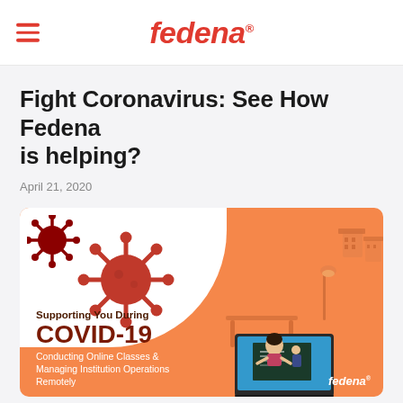fedena
Fight Coronavirus: See How Fedena is helping?
April 21, 2020
[Figure (illustration): Banner image with orange background showing coronavirus particles on white blob (left), a student studying on stacked books in front of a laptop with a teacher on screen (center-right), isometric building illustrations (right). Text overlay: 'Supporting You During COVID-19 Conducting Online Classes & Managing Institution Operations Remotely'. Fedena logo bottom right.]